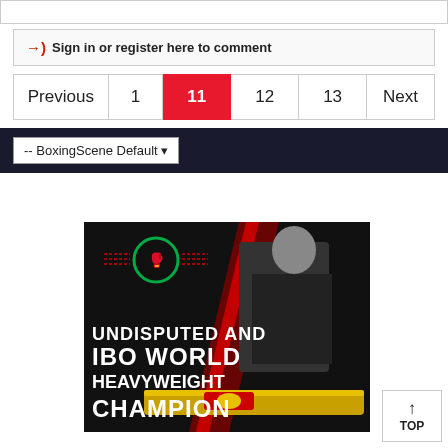→ Sign in or register here to comment
Previous  1  11  12  13  Next
-- BoxingScene Default
[Figure (photo): Boxing promotional image showing a boxer with championship belts and text: UNDISPUTED AND IBO WORLD HEAVYWEIGHT CHAMPION]
↑ TOP